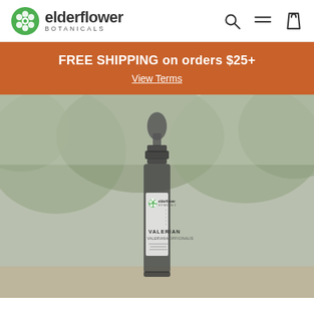elderflower BOTANICALS
FREE SHIPPING on orders $25+
View Terms
[Figure (photo): A dark amber dropper bottle labeled VALERIAN / VALERIANA OFFICINALIS with the elderflower botanicals logo, photographed outdoors with blurred green trees in the background.]